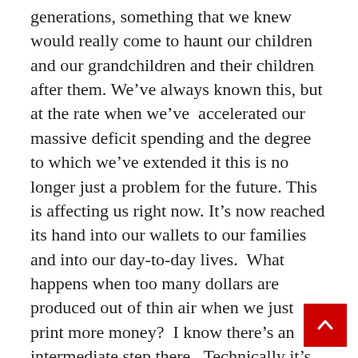generations, something that we knew would really come to haunt our children and our grandchildren and their children after them. We've always known this, but at the rate when we've accelerated our massive deficit spending and the degree to which we've extended it this is no longer just a problem for the future. This is affecting us right now. It's now reached its hand into our wallets to our families and into our day-to-day lives. What happens when too many dollars are produced out of thin air when we just print more money? I know there's an intermediate step there. Technically it's borrowed money. The money that we don't have isn't just printed, it is borrowed as the U.S trea bills are sold. We borrow that money knowing we're going to have to pay it back later. But it has